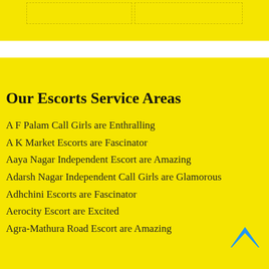[Figure (other): Yellow banner at top with dashed inner border boxes]
Our Escorts Service Areas
A F Palam Call Girls are Enthralling
A K Market Escorts are Fascinator
Aaya Nagar Independent Escort are Amazing
Adarsh Nagar Independent Call Girls are Glamorous
Adhchini Escorts are Fascinator
Aerocity Escort are Excited
Agra-Mathura Road Escort are Amazing